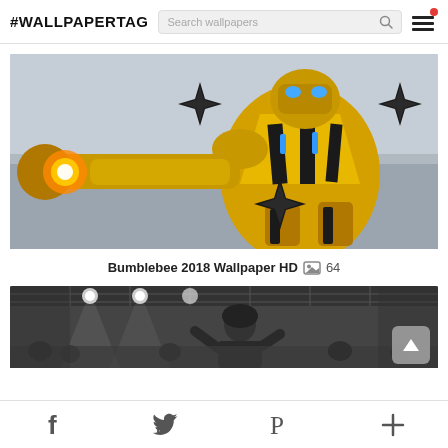#WALLPAPERTAG
[Figure (screenshot): Search wallpapers input bar with magnifying glass icon]
[Figure (photo): Bumblebee Transformer robot from 2018 movie, yellow and black, punching with glowing fist, surrounded by star-shaped weapons]
Bumblebee 2018 Wallpaper HD  64
[Figure (photo): Black and white photo of a person performing at a concert with stage lights in background, partially visible]
f  t  P  +